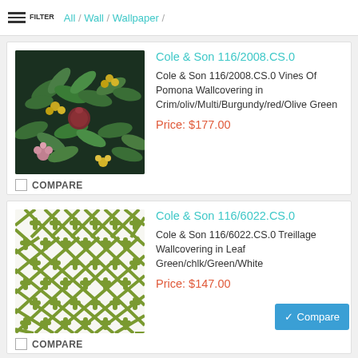FILTER  All / Wall / Wallpaper /
Cole & Son 116/2008.CS.0
Cole & Son 116/2008.CS.0 Vines Of Pomona Wallcovering in Crim/oliv/Multi/Burgundy/red/Olive Green
Price: $177.00
COMPARE
Cole & Son 116/6022.CS.0
Cole & Son 116/6022.CS.0 Treillage Wallcovering in Leaf Green/chlk/Green/White
Price: $147.00
COMPARE